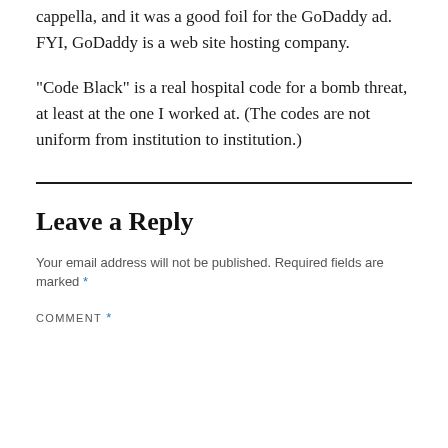cappella, and it was a good foil for the GoDaddy ad. FYI, GoDaddy is a web site hosting company.
“Code Black” is a real hospital code for a bomb threat, at least at the one I worked at. (The codes are not uniform from institution to institution.)
Leave a Reply
Your email address will not be published. Required fields are marked *
COMMENT *